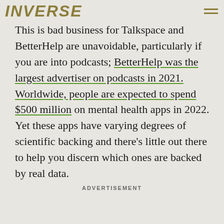INVERSE
This is bad business for Talkspace and BetterHelp are unavoidable, particularly if you are into podcasts; BetterHelp was the largest advertiser on podcasts in 2021. Worldwide, people are expected to spend $500 million on mental health apps in 2022. Yet these apps have varying degrees of scientific backing and there's little out there to help you discern which ones are backed by real data.
ADVERTISEMENT